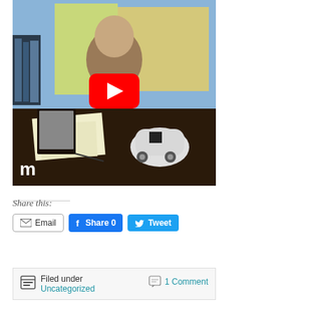[Figure (screenshot): YouTube video thumbnail showing a man sitting at a desk with maps on the wall behind him, a small white teardrop trailer model on the desk, and papers scattered around. A red YouTube play button overlay is in the center.]
Share this:
Email  Share 0  Tweet  Save
Filed under
Uncategorized
1 Comment